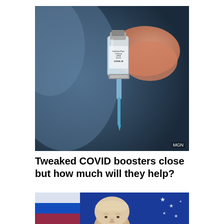[Figure (photo): Close-up photo of a hand holding a COVID-19 vaccine vial with a syringe inserted, blue needle visible. Label on vial reads COVID-19. MGN watermark in bottom right corner.]
Tweaked COVID boosters close but how much will they help?
[Figure (photo): Photo of Vladimir Putin speaking in front of a blue flag with white stars.]